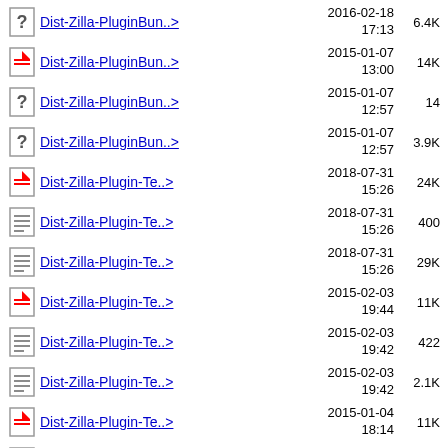Dist-Zilla-PluginBun..>  2016-02-18 17:13  6.4K
Dist-Zilla-PluginBun..>  2015-01-07 13:00  14K
Dist-Zilla-PluginBun..>  2015-01-07 12:57  14
Dist-Zilla-PluginBun..>  2015-01-07 12:57  3.9K
Dist-Zilla-Plugin-Te..>  2018-07-31 15:26  24K
Dist-Zilla-Plugin-Te..>  2018-07-31 15:26  400
Dist-Zilla-Plugin-Te..>  2018-07-31 15:26  29K
Dist-Zilla-Plugin-Te..>  2015-02-03 19:44  11K
Dist-Zilla-Plugin-Te..>  2015-02-03 19:42  422
Dist-Zilla-Plugin-Te..>  2015-02-03 19:42  2.1K
Dist-Zilla-Plugin-Te..>  2015-01-04 18:14  11K
Dist-Zilla-Plugin-Te..>  2015-01-04